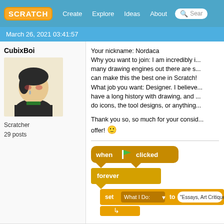SCRATCH | Create | Explore | Ideas | About | Search
March 26, 2021 03:41:57
CubixBoi
Scratcher
29 posts
Your nickname: Nordaca
Why you want to join: I am incredibly i... many drawing engines out there are s... can make this the best one in Scratch!
What job you want: Designer. I believe... have a long history with drawing, and ... do icons, the tool designs, or anything...

Thank you so, so much for your consid... offer! :)
[Figure (screenshot): Scratch code blocks showing: when [flag] clicked, forever, set [What I Do:] to ["Essays, Art Critiques...], with arrow block]
March 27, 2021 03:44:57
dudemanwest